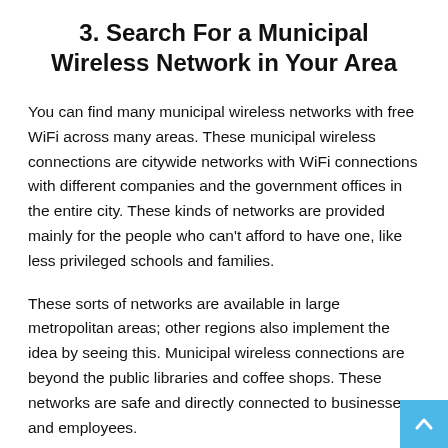3. Search For a Municipal Wireless Network in Your Area
You can find many municipal wireless networks with free WiFi across many areas. These municipal wireless connections are citywide networks with WiFi connections with different companies and the government offices in the entire city. These kinds of networks are provided mainly for the people who can't afford to have one, like less privileged schools and families.
These sorts of networks are available in large metropolitan areas; other regions also implement the idea by seeing this. Municipal wireless connections are beyond the public libraries and coffee shops. These networks are safe and directly connected to businesses and employees.